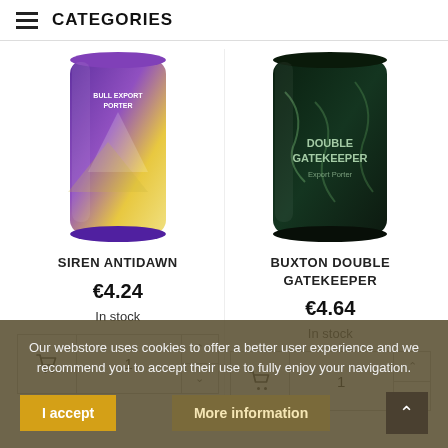CATEGORIES
SIREN ANTIDAWN
€4.24
In stock
BUXTON DOUBLE GATEKEEPER
€4.64
In stock
Our webstore uses cookies to offer a better user experience and we recommend you to accept their use to fully enjoy your navigation.
I accept
More information